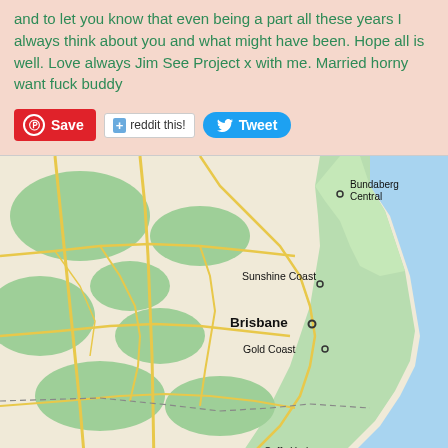and to let you know that even being a part all these years I always think about you and what might have been. Hope all is well. Love always Jim See Project x with me. Married horny want fuck buddy
[Figure (other): Social media sharing buttons: Pinterest Save, reddit this!, Tweet]
[Figure (map): Google Maps view of Queensland and New South Wales coastline, Australia, showing Bundaberg Central, Sunshine Coast, Brisbane, Gold Coast, and Coffs Harbour with roads and terrain]